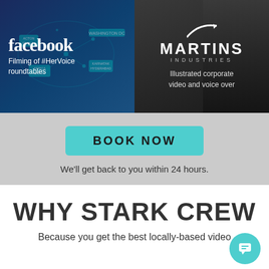[Figure (illustration): Two-panel banner image: left panel shows Facebook logo with 'Filming of #HerVoice roundtables' text on a dark blue world map background; right panel shows Martins Industries logo with 'Illustrated corporate video and voice over' text on a dark background with a person looking at a board]
[Figure (other): Teal BOOK NOW button]
We'll get back to you within 24 hours.
WHY STARK CREW
Because you get the best locally-based video